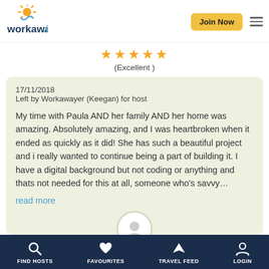workaway.info | Join Now
(Excellent)
17/11/2018
Left by Workawayer (Keegan) for host

My time with Paula AND her family AND her home was amazing. Absolutely amazing, and I was heartbroken when it ended as quickly as it did! She has such a beautiful project and i really wanted to continue being a part of building it. I have a digital background but not coding or anything and thats not needed for this at all, someone who's savvy...
read more
FIND HOSTS | FAVOURITES | TRAVEL FEED | LOGIN